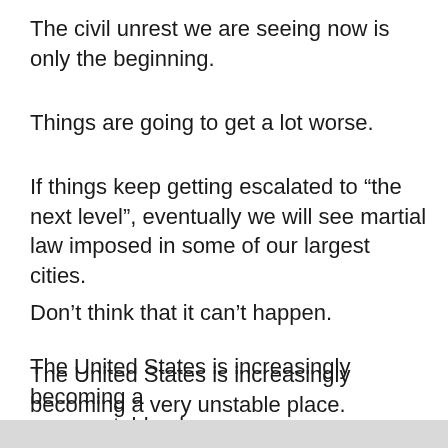The civil unrest we are seeing now is only the beginning.
Things are going to get a lot worse.
If things keep getting escalated to “the next level”, eventually we will see martial law imposed in some of our largest cities.
Don’t think that it can’t happen.
The United States is increasingly becoming a very unstable place.
As America comes apart at the seams, this is not going to end well for any of us.